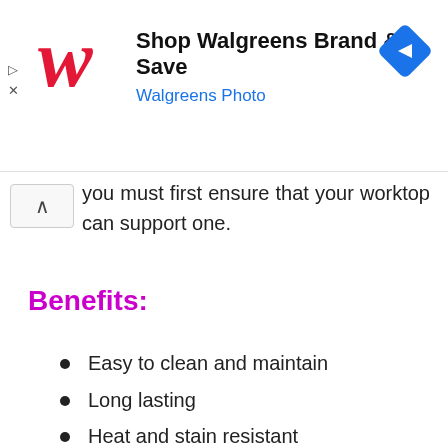[Figure (advertisement): Walgreens ad banner: red italic W logo, headline 'Shop Walgreens Brand & Save', subtitle 'Walgreens Photo' in blue, blue diamond navigation icon on right, play and close controls on far left]
you must first ensure that your worktop can support one.
Benefits:
Easy to clean and maintain
Long lasting
Heat and stain resistant
Drawbacks: